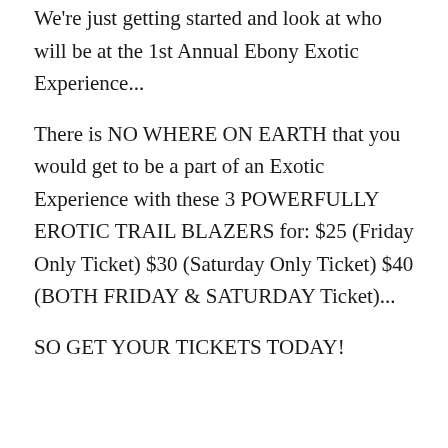We're just getting started and look at who will be at the 1st Annual Ebony Exotic Experience...
There is NO WHERE ON EARTH that you would get to be a part of an Exotic Experience with these 3 POWERFULLY EROTIC TRAIL BLAZERS for: $25 (Friday Only Ticket) $30 (Saturday Only Ticket) $40 (BOTH FRIDAY & SATURDAY Ticket)...
SO GET YOUR TICKETS TODAY!